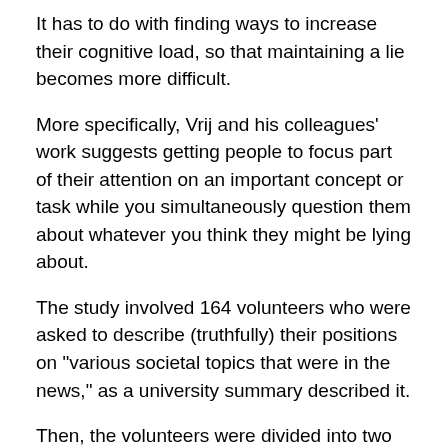It has to do with finding ways to increase their cognitive load, so that maintaining a lie becomes more difficult.
More specifically, Vrij and his colleagues' work suggests getting people to focus part of their attention on an important concept or task while you simultaneously question them about whatever you think they might be lying about.
The study involved 164 volunteers who were asked to describe (truthfully) their positions on "various societal topics that were in the news," as a university summary described it.
Then, the volunteers were divided into two groups: a cohort that would tell the truth when inquired about their feelings by a separate group of interviewers, and